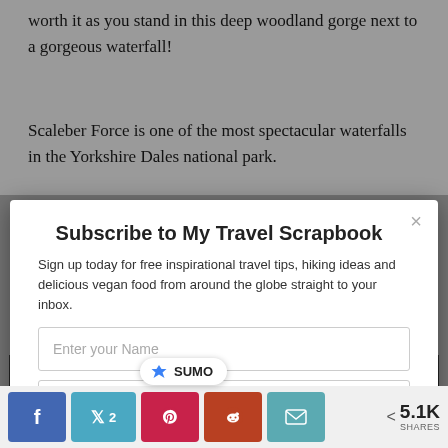worth it as you stand in this deep woodland gorge next to a gorgeous waterfall!
Scaleber Force is one of the most spectacular waterfalls in the Yorkshire Dales national park.
Subscribe to My Travel Scrapbook
Sign up today for free inspirational travel tips, hiking ideas and delicious vegan food from around the globe straight to your inbox.
Enter your Name
Enter your Email
SUBSCRIBE NOW
[Figure (screenshot): Sumo branding badge with crown icon and SUMO text on white pill-shaped badge, overlaid on a dark nature/waterfall photograph]
5.1K SHARES